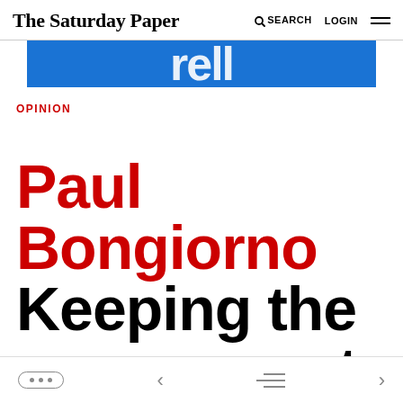The Saturday Paper — SEARCH LOGIN
[Figure (other): Blue advertisement banner with large white text partially visible]
OPINION
Paul Bongiorno Keeping the government honest